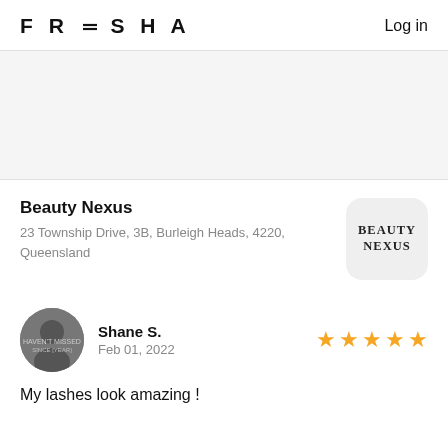FRESHA  Log in
[Figure (other): Gray banner image area (placeholder/hero image background)]
Beauty Nexus
23 Township Drive, 3B, Burleigh Heads, 4220, Queensland
[Figure (logo): Beauty Nexus logo: rounded rectangle with BEAUTY NEXUS text in serif font]
Shane S.
Feb 01, 2022
[Figure (photo): Circular avatar photo of Shane S. (grayscale)]
5 star rating
My lashes look amazing !